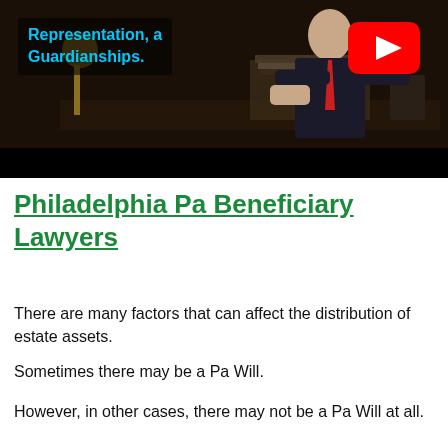[Figure (screenshot): YouTube video thumbnail showing a lawyer in a suit with a red tie sitting at a desk, with overlay text 'Representation, a... Guardianships.' in cyan, and a YouTube play button icon in the upper right]
Philadelphia Pa Beneficiary Lawyers
There are many factors that can affect the distribution of estate assets.
Sometimes there may be a Pa Will.
However, in other cases, there may not be a Pa Will at all.